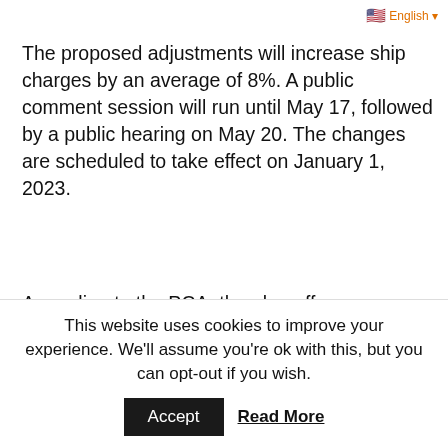English
The proposed adjustments will increase ship charges by an average of 8%. A public comment session will run until May 17, followed by a public hearing on May 20. The changes are scheduled to take effect on January 1, 2023.
According to the PCA, the plan offers a streamlined structure to avoid misunderstanding and misinterpretations while also stabilising pricing. More than 400 toll rates have been established as a result of the current framework. The improvements are aimed at lowering that number dramatically.
Relative worth
This website uses cookies to improve your experience. We'll assume you're ok with this, but you can opt-out if you wish.
Accept  Read More